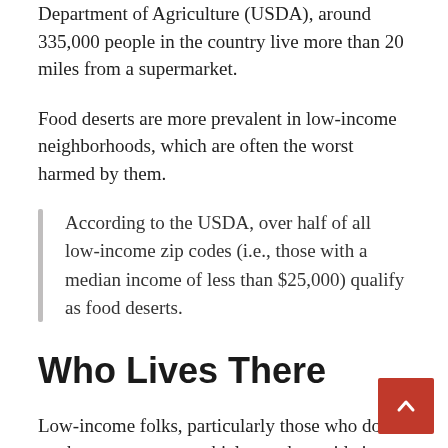Department of Agriculture (USDA), around 335,000 people in the country live more than 20 miles from a supermarket.
Food deserts are more prevalent in low-income neighborhoods, which are often the worst harmed by them.
According to the USDA, over half of all low-income zip codes (i.e., those with a median income of less than $25,000) qualify as food deserts.
Who Lives There
Low-income folks, particularly those who do not have access to a vehicle or who reside in